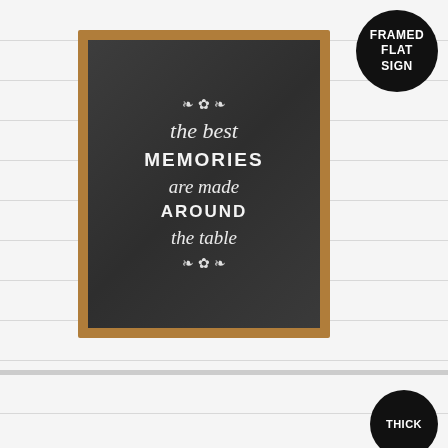[Figure (photo): A framed flat sign with a chalkboard background mounted on a white shiplap wall. The sign has a rustic wood frame and displays the text 'the best MEMORIES are made AROUND the table' in a mix of script and bold print lettering, with decorative ornamental flourishes at top and bottom. A black circular badge in the upper right reads 'FRAMED FLAT SIGN'.]
[Figure (photo): Partial view of a second similar framed sign on a white shiplap background, with a black circular badge partially visible at the lower right reading 'THICK'.]